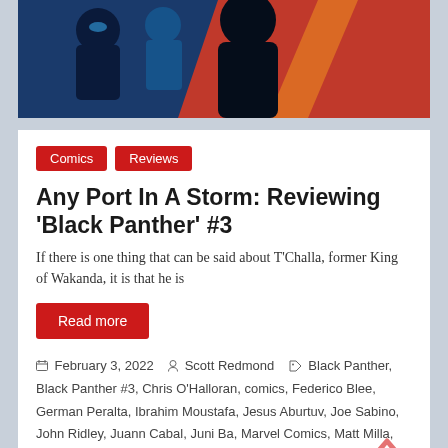[Figure (illustration): Comic book cover image showing superhero characters in blue and red tones with text 'PLUS A STORY BY CARTOONIST JUNI BA AND THE DEBUT OF A BRAND NEW WAKANDAN HERO!']
Comics
Reviews
Any Port In A Storm: Reviewing 'Black Panther' #3
If there is one thing that can be said about T'Challa, former King of Wakanda, it is that he is
Read more
February 3, 2022   Scott Redmond   Black Panther, Black Panther #3, Chris O'Halloran, comics, Federico Blee, German Peralta, Ibrahim Moustafa, Jesus Aburtuv, Joe Sabino, John Ridley, Juann Cabal, Juni Ba, Marvel Comics, Matt Milla, political thriller, Reviews, Spies, superheroes